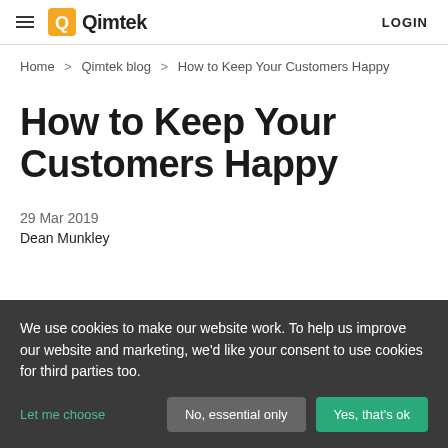Qimtek LOGIN
Home > Qimtek blog > How to Keep Your Customers Happy
How to Keep Your Customers Happy
29 Mar 2019
Dean Munkley
We use cookies to make our website work. To help us improve our website and marketing, we'd like your consent to use cookies for third parties too.
Let me choose  No, essential only  Yes, that's ok